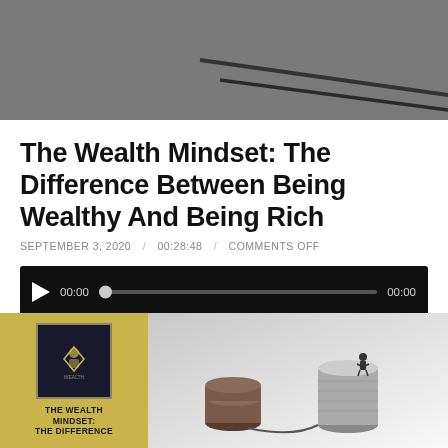[Figure (photo): Top portion of a podcast or blog page hero image showing abstract gray background with dark lines]
The Wealth Mindset: The Difference Between Being Wealthy And Being Rich
SEPTEMBER 3, 2020 / 00:28:48 / COMMENTS OFF
[Figure (other): Audio player with play button, progress bar at 00:00, and end time 00:00 on black background]
[Figure (photo): Bottom composite image: left side shows podcast cover art with gold background and 'THE WEALTH MINDSET: THE DIFFERENCE' text, right side shows stacks of coins with a small figure standing on one stack against gray gradient background]